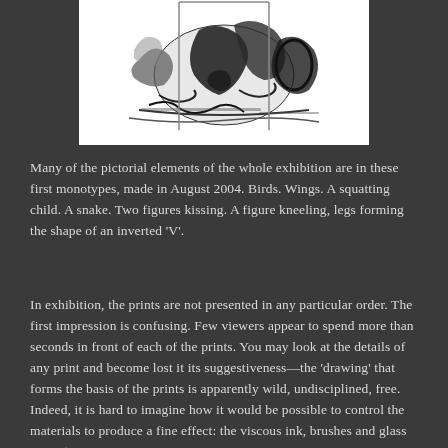[Figure (illustration): Black and white monotype print showing abstract figures including what appears to be birds, wings, and human figures in a gestural, expressive style.]
Many of the pictorial elements of the whole exhibition are in these first monotypes, made in August 2004. Birds. Wings. A squatting child. A snake. Two figures kissing. A figure kneeling, legs forming the shape of an inverted 'V'.
In exhibition, the prints are not presented in any particular order. The first impression is confusing. Few viewers appear to spend more than seconds in front of each of the prints. You may look at the details of any print and become lost it its suggestiveness—the 'drawing' that forms the basis of the prints is apparently wild, undisciplined, free. Indeed, it is hard to imagine how it would be possible to control the materials to produce a fine effect: the viscous ink, brushes and glass are not